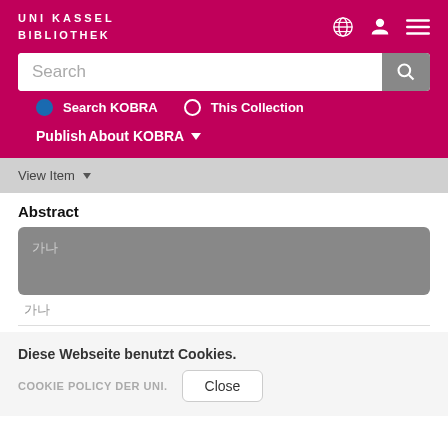UNI KASSEL BIBLIOTHEK
Search
Search KOBRA  This Collection
Publish  About KOBRA
View Item
Abstract
··
··
Diese Webseite benutzt Cookies.
COOKIE POLICY DER UNI.
Close